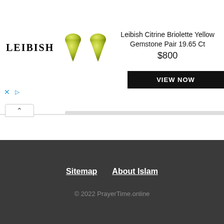[Figure (screenshot): Leibish advertisement banner with yellow gemstone briolette pair, brand logo, product title, price $800, and black VIEW NOW button]
Sassnitz
Sitemap  About Islam
© 2022 PrayerTime.online